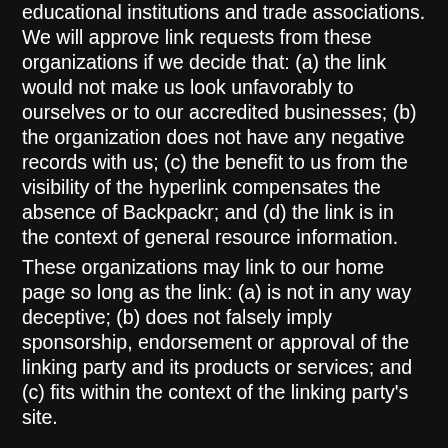educational institutions and trade associations. We will approve link requests from these organizations if we decide that: (a) the link would not make us look unfavorably to ourselves or to our accredited businesses; (b) the organization does not have any negative records with us; (c) the benefit to us from the visibility of the hyperlink compensates the absence of Backpackr; and (d) the link is in the context of general resource information.
These organizations may link to our home page so long as the link: (a) is not in any way deceptive; (b) does not falsely imply sponsorship, endorsement or approval of the linking party and its products or services; and (c) fits within the context of the linking party's site.